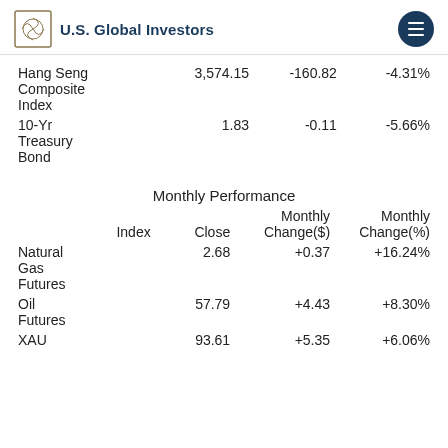U.S. Global Investors
| Index | Close | Weekly Change($) | Weekly Change(%) |
| --- | --- | --- | --- |
| Hang Seng Composite Index | 3,574.15 | -160.82 | -4.31% |
| 10-Yr Treasury Bond | 1.83 | -0.11 | -5.66% |
Monthly Performance
| Index | Close | Monthly Change($) | Monthly Change(%) |
| --- | --- | --- | --- |
| Natural Gas Futures | 2.68 | +0.37 | +16.24% |
| Oil Futures | 57.79 | +4.43 | +8.30% |
| XAU | 93.61 | +5.35 | +6.06% |